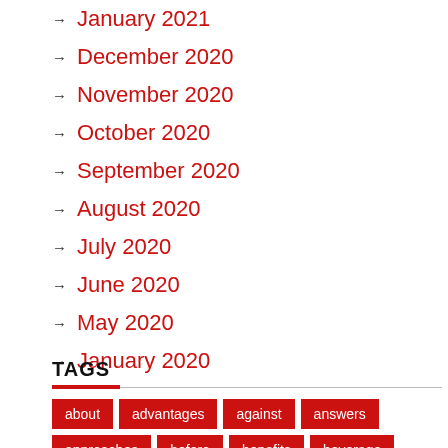January 2021
December 2020
November 2020
October 2020
September 2020
August 2020
July 2020
June 2020
May 2020
January 2020
TAGS
about advantages against answers approaches before benefits beverage